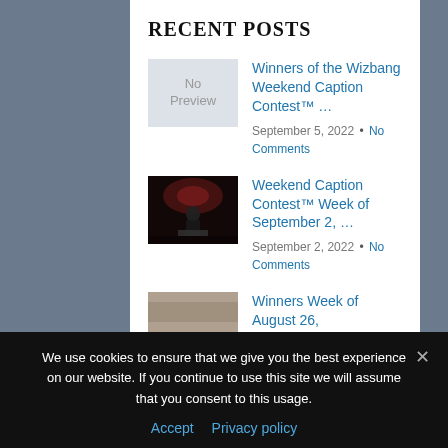RECENT POSTS
Winners of the Wizbang Weekend Caption Contest™ …
September 5, 2022 · No Comments
Weekend Caption Contest™ Week of September 2, …
September 2, 2022 · No Comments
Winners Week of August 26,
We use cookies to ensure that we give you the best experience on our website. If you continue to use this site we will assume that you consent to this usage.
Accept  Privacy policy